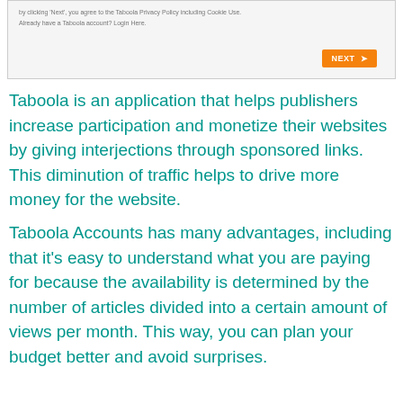[Figure (screenshot): Screenshot of a Taboola account registration or login form with small text about Privacy Policy and Cookie Use, a login link, and an orange NEXT button]
Taboola is an application that helps publishers increase participation and monetize their websites by giving interjections through sponsored links. This diminution of traffic helps to drive more money for the website.
Taboola Accounts has many advantages, including that it's easy to understand what you are paying for because the availability is determined by the number of articles divided into a certain amount of views per month. This way, you can plan your budget better and avoid surprises.